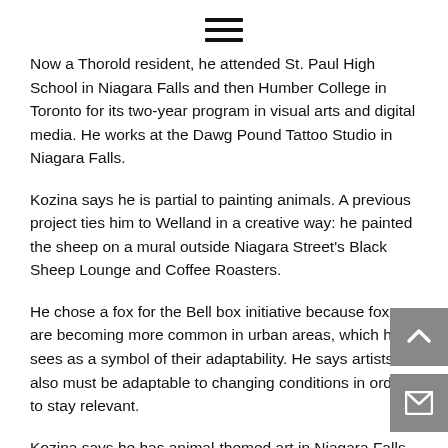≡
Now a Thorold resident, he attended St. Paul High School in Niagara Falls and then Humber College in Toronto for its two-year program in visual arts and digital media. He works at the Dawg Pound Tattoo Studio in Niagara Falls.
Kozina says he is partial to painting animals. A previous project ties him to Welland in a creative way: he painted the sheep on a mural outside Niagara Street's Black Sheep Lounge and Coffee Roasters.
He chose a fox for the Bell box initiative because foxes are becoming more common in urban areas, which he sees as a symbol of their adaptability. He says artists also must be adaptable to changing conditions in order to stay relevant.
Kozina says he has animal-themed art in Niagara Falls, Beamsville and St. Catharines.